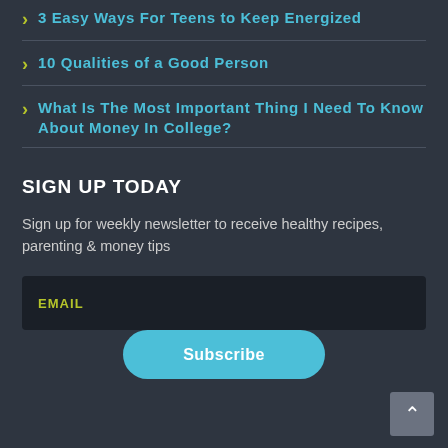3 Easy Ways For Teens to Keep Energized
10 Qualities of a Good Person
What Is The Most Important Thing I Need To Know About Money In College?
SIGN UP TODAY
Sign up for weekly newsletter to receive healthy recipes, parenting & money tips
EMAIL
Subscribe